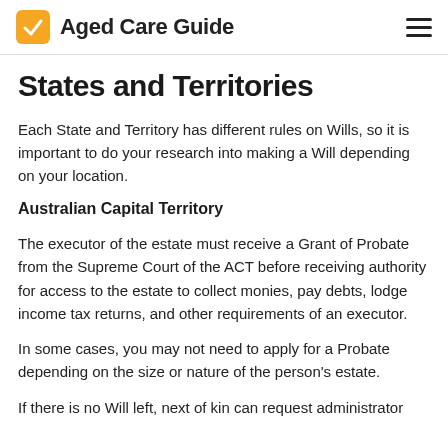Aged Care Guide
States and Territories
Each State and Territory has different rules on Wills, so it is important to do your research into making a Will depending on your location.
Australian Capital Territory
The executor of the estate must receive a Grant of Probate from the Supreme Court of the ACT before receiving authority for access to the estate to collect monies, pay debts, lodge income tax returns, and other requirements of an executor.
In some cases, you may not need to apply for a Probate depending on the size or nature of the person's estate.
If there is no Will left, next of kin can request administrator